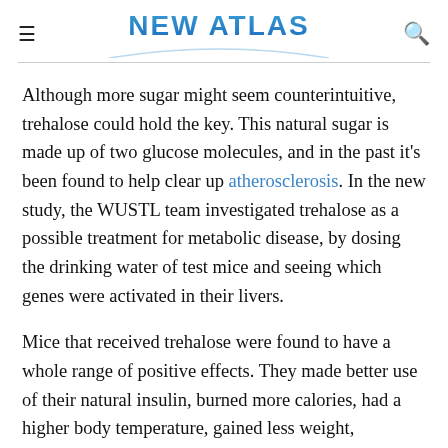NEW ATLAS
Although more sugar might seem counterintuitive, trehalose could hold the key. This natural sugar is made up of two glucose molecules, and in the past it's been found to help clear up atherosclerosis. In the new study, the WUSTL team investigated trehalose as a possible treatment for metabolic disease, by dosing the drinking water of test mice and seeing which genes were activated in their livers.
Mice that received trehalose were found to have a whole range of positive effects. They made better use of their natural insulin, burned more calories, had a higher body temperature, gained less weight,